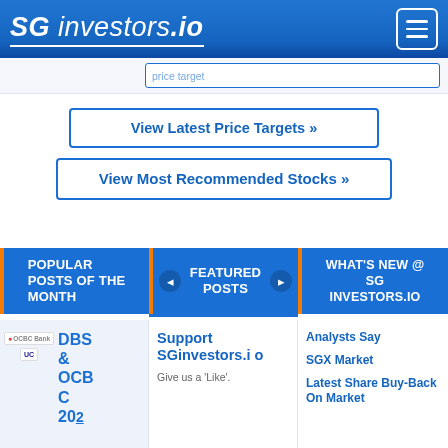SG investors.io
View Latest Price Targets »
View Most Recommended Stocks »
POPULAR POSTS OF THE MONTH
FEATURED POSTS
WHAT'S NEW @ SG INVESTORS.IO
[Figure (logo): OCBC Bank and UOB logos]
DBS & OCBC 202
Support SGinvestors.io
Give us a 'Like'.
Analysts Say
SGX Market
Latest Share Buy-Back On Market